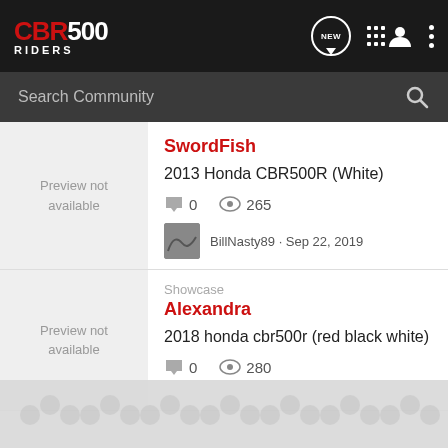CBR500 RIDERS
Search Community
SwordFish
2013 Honda CBR500R (White)
0 comments · 265 views
BillNasty89 · Sep 22, 2019
Showcase
Alexandra
2018 honda cbr500r (red black white)
0 · 280